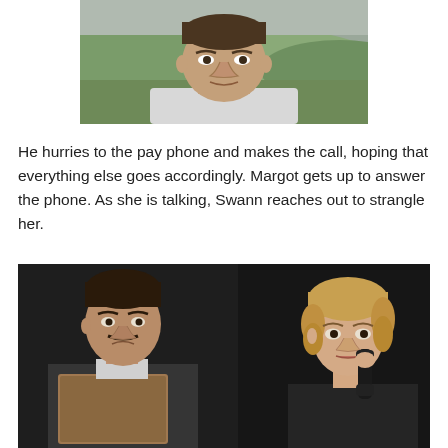[Figure (photo): Close-up of a man's face outdoors with green fields and hills in the background. He has a serious, concerned expression.]
He hurries to the pay phone and makes the call, hoping that everything else goes accordingly. Margot gets up to answer the phone. As she is talking, Swann reaches out to strangle her.
[Figure (photo): A dark scene showing two people: on the left, a man in a suit with a mustache holding what appears to be a book or folder, and on the right, a blonde woman holding a telephone receiver to her ear. Both have serious expressions.]